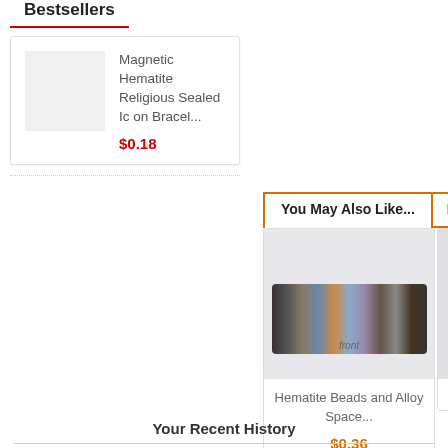Bestsellers
Magnetic Hematite Religious Sealed Icon Bracel...
$0.18
You May Also Like...
Reviews (
[Figure (photo): Product image of a bracelet with hematite beads showing colored icon tiles on the front, labeled 'front']
Hematite Beads and Alloy Space...
$0.36
[Figure (photo): Partial product image of another magnetic hematite bracelet, partially visible at right edge]
Mag Re
Your Recent History